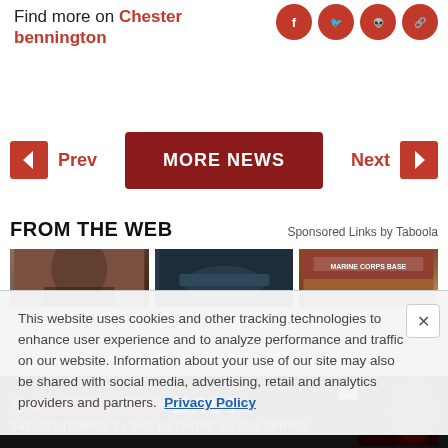Find more on Chester bennington
[Figure (other): Social media share icons: Facebook, Twitter, Reddit, and link/share button in red circular style]
[Figure (other): Navigation: Prev button with left arrow, MORE NEWS button (dark red), Next button with right arrow]
FROM THE WEB
Sponsored Links by Taboola
[Figure (photo): Three thumbnail images in a row: woman with dark hair, dark object on teal background, Marine Corps Base sign on brick wall]
This website uses cookies and other tracking technologies to enhance user experience and to analyze performance and traffic on our website. Information about your use of our site may also be shared with social media, advertising, retail and analytics providers and partners.  Privacy Policy
[Figure (other): Advertisement banner: CARPENTER BRUT - SAT. SEPTEMBER 3 • THE FILLMORE SILVER SPRING]